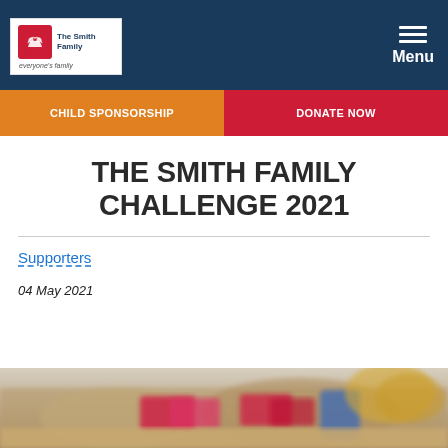[Figure (logo): The Smith Family logo with red hands icon and tagline 'everyone's family' on white background, inside dark navy header with hamburger menu and 'Menu' label on right]
CHILD SPONSORSHIP
DONATE NOW
THE SMITH FAMILY CHALLENGE 2021
Supporters
04 May 2021
[Figure (photo): Blurry photo of what appears to be a table with food and game/product items with colorful packaging]